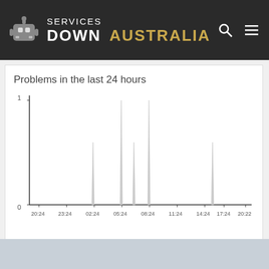SERVICES DOWN AUSTRALIA
Problems in the last 24 hours
[Figure (continuous-plot): Line/spike chart showing problems in the last 24 hours. X-axis labels: 20:24, 23:24, 02:24, 05:24, 08:24, 11:24, 14:24, 17:24, 20:22. Y-axis: 0 to 1. Several sharp spikes visible around 02:24 (medium height ~0.6), 05:24 (full height ~1.0), between 05:24 and 08:24 (~0.6 partial), 08:24 (full height ~1.0), and 14:24-17:24 (~0.6).]